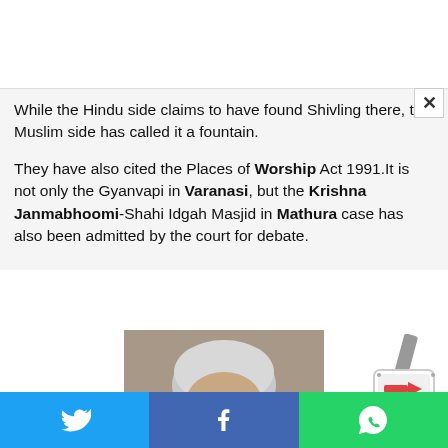While the Hindu side claims to have found Shivling there, the Muslim side has called it a fountain.
They have also cited the Places of Worship Act 1991.It is not only the Gyanvapi in Varanasi, but the Krishna Janmabhoomi-Shahi Idgah Masjid in Mathura case has also been admitted by the court for debate.
[Figure (photo): Partial photo of an elderly man with white/grey hair, appearing to be in an indoor setting.]
[Figure (logo): News channel logo with a TV/remote icon and arrow graphic in red and grey tones.]